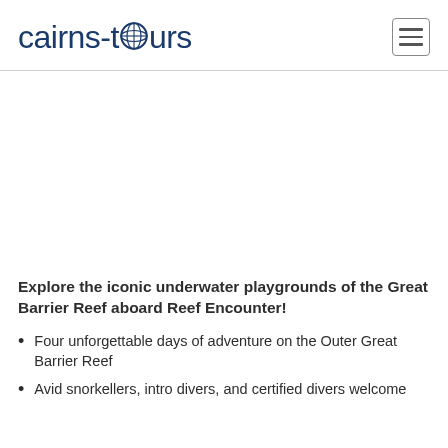cairns-tours
[Figure (photo): Large image area (appears white/blank in this crop) showing underwater or reef scenery]
Explore the iconic underwater playgrounds of the Great Barrier Reef aboard Reef Encounter!
Four unforgettable days of adventure on the Outer Great Barrier Reef
Avid snorkellers, intro divers, and certified divers welcome